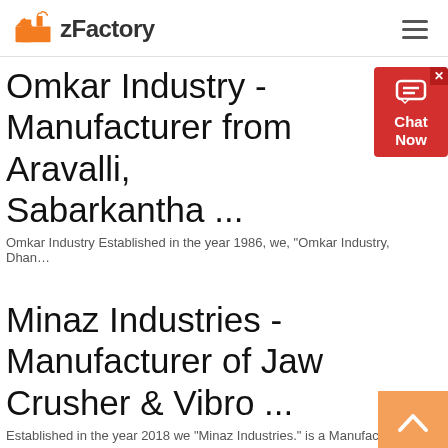zFactory
Omkar Industry - Manufacturer from Aravalli, Sabarkantha ...
Omkar Industry Established in the year 1986, we, “Omkar Industry, Dhan…
Minaz Industries - Manufacturer of Jaw Crusher & Vibro ...
Established in the year 2018 we “Minaz Industries.” is a Manufacturer of…